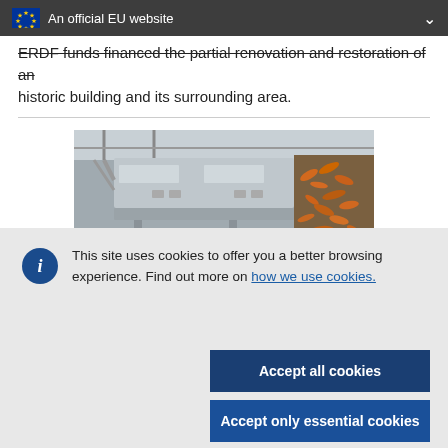An official EU website
ERDF funds financed the partial renovation and restoration of an historic building and its surrounding area.
[Figure (photo): Industrial food processing equipment with metal conveyor and food items on the right side]
This site uses cookies to offer you a better browsing experience. Find out more on how we use cookies.
Accept all cookies
Accept only essential cookies